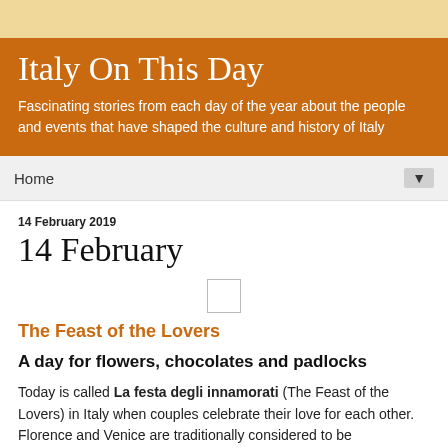Italy On This Day
Italy On This Day
Fascinating stories from each day of the year about the people and events that have shaped the culture and history of Italy
Home
14 February 2019
14 February
[Figure (other): Small placeholder image box]
The Feast of the Lovers
A day for flowers, chocolates and padlocks
Today is called La festa degli innamorati (The Feast of the Lovers) in Italy when couples celebrate their love for each other. Florence and Venice are traditionally considered to be